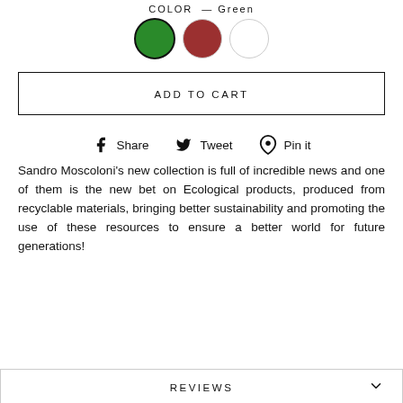COLOR — Green
[Figure (other): Three color swatches: green (selected with black border), red, and white]
ADD TO CART
Share  Tweet  Pin it
Sandro Moscoloni's new collection is full of incredible news and one of them is the new bet on Ecological products, produced from recyclable materials, bringing better sustainability and promoting the use of these resources to ensure a better world for future generations!
REVIEWS